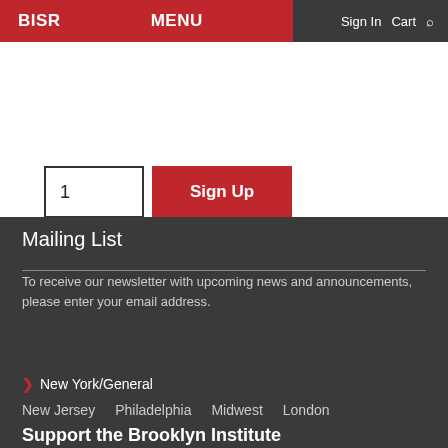BISR | MENU | Sign In | Cart
[Figure (screenshot): Quantity input box showing '1' and a red 'Sign Up' button]
Mailing List
To receive our newsletter with upcoming news and announcements, please enter your email address.
[Figure (screenshot): Email input field with placeholder 'Email' and a red 'Subscribe' button]
> New York/General
New Jersey   Philadelphia   Midwest   London
Support the Brooklyn Institute